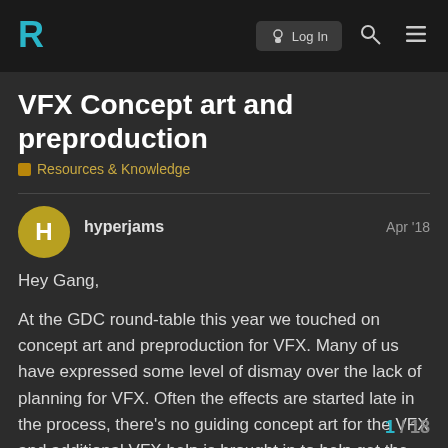RocketChat forum navigation bar with logo, Log In button, search and menu icons
VFX Concept art and preproduction
Resources & Knowledge
hyperjams   Apr '18
Hey Gang,

At the GDC round-table this year we touched on concept art and preproduction for VFX. Many of us have expressed some level of dismay over the lack of planning for VFX. Often the effects are started late in the process, there's no guiding concept art for the VFX and additional VFX help is brought in to help get the game across the finish line. As an educator, I'm looking to get students started off on the right foot and always incorporate some level of planning before they make their VFX. I'm looking for examples of concept art and/or other fo VFX. If you have examples from your own
1 / 18